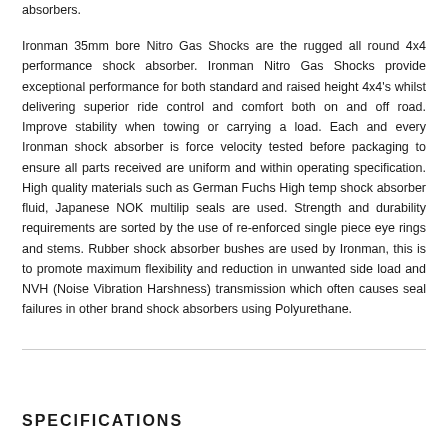absorbers.
Ironman 35mm bore Nitro Gas Shocks are the rugged all round 4x4 performance shock absorber. Ironman Nitro Gas Shocks provide exceptional performance for both standard and raised height 4x4's whilst delivering superior ride control and comfort both on and off road. Improve stability when towing or carrying a load. Each and every Ironman shock absorber is force velocity tested before packaging to ensure all parts received are uniform and within operating specification. High quality materials such as German Fuchs High temp shock absorber fluid, Japanese NOK multilip seals are used. Strength and durability requirements are sorted by the use of re-enforced single piece eye rings and stems. Rubber shock absorber bushes are used by Ironman, this is to promote maximum flexibility and reduction in unwanted side load and NVH (Noise Vibration Harshness) transmission which often causes seal failures in other brand shock absorbers using Polyurethane.
SPECIFICATIONS